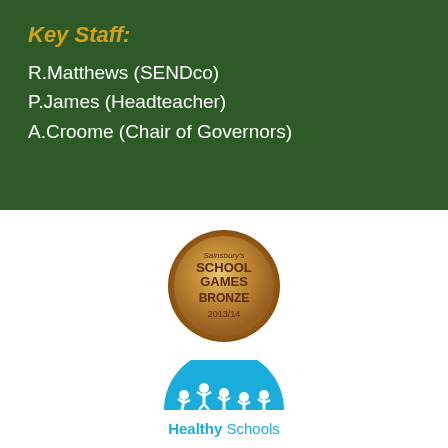Key Staff:
R.Matthews (SENDco)
P.James (Headteacher)
A.Croome (Chair of Governors)
[Figure (logo): Sainsbury's School Games Bronze 2013/14 medal badge — circular bronze/gold gradient badge with text: Sainsbury's SCHOOL GAMES BRONZE 2013/14]
[Figure (logo): Healthy Schools logo — blue semicircle with white silhouettes of children jumping, text 'Healthy Schools' in blue bold font below]
[Figure (logo): Partially visible circular logo at bottom of page, blue]